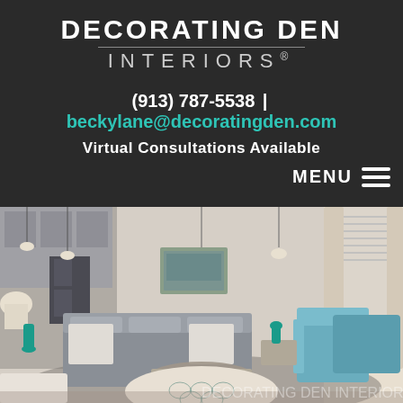DECORATING DEN INTERIORS
(913) 787-5538 | beckylane@decoratingden.com
Virtual Consultations Available
MENU
[Figure (photo): Interior design photo of a modern living room with grey sofa, patterned ottoman, teal accent chairs, pendant lights, and open concept layout. Decorating Den Interiors watermark at the bottom.]